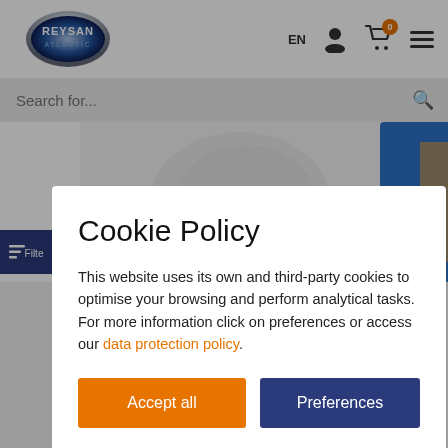[Figure (logo): Reysan Atlantic company logo in an oval shape with blue and silver gradient]
EN  [user icon]  [cart icon with badge 0]  [hamburger menu]
Search for...
[Figure (photo): Partial product image showing a white and blue item with embossed text]
Cookie Policy
This website uses its own and third-party cookies to optimise your browsing and perform analytical tasks. For more information click on preferences or access our data protection policy.
Accept all
Preferences